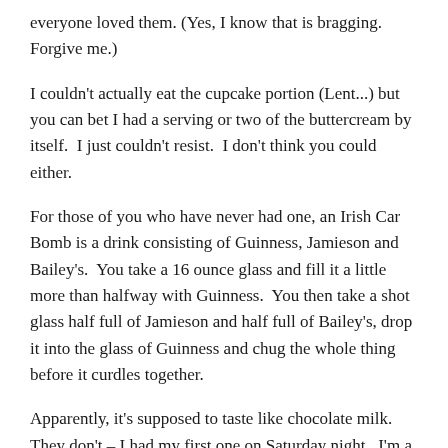everyone loved them. (Yes, I know that is bragging. Forgive me.)
I couldn't actually eat the cupcake portion (Lent...) but you can bet I had a serving or two of the buttercream by itself.  I just couldn't resist.  I don't think you could either.
For those of you who have never had one, an Irish Car Bomb is a drink consisting of Guinness, Jamieson and Bailey's.  You take a 16 ounce glass and fill it a little more than halfway with Guinness.  You then take a shot glass half full of Jamieson and half full of Bailey's, drop it into the glass of Guinness and chug the whole thing before it curdles together.
Apparently, it's supposed to taste like chocolate milk.  They don't – I had my first one on Saturday night.  I'm a much bigger fan of this dessert.  These cupcakes (without the Jamieson part – I decided against the whiskey ganache this time) are a piece of Irish heaven.